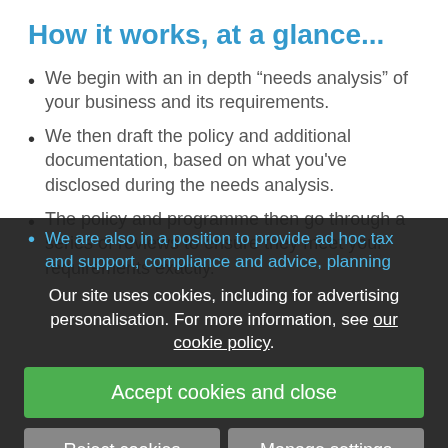How it works, at a glance...
We begin with an in depth “needs analysis” of your business and its requirements.
We then draft the policy and additional documentation, based on what you've disclosed during the needs analysis.
The policy and programme then go through a series of reviews to ensure they meet your requirements exactly.
We are also in a position to provide ad hoc tax and support, compliance and advice, planning
Our site uses cookies, including for advertising personalisation. For more information, see our cookie policy.
Accept cookies and close
Reject cookies
Manage settings
Other HR services we offer